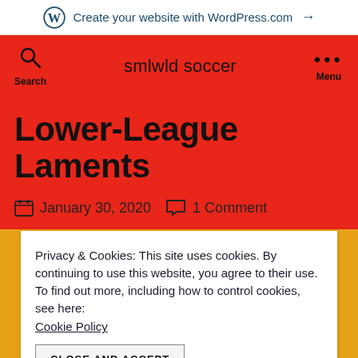Create your website with WordPress.com →
smlwld soccer
Lower-League Laments
January 30, 2020   1 Comment
Privacy & Cookies: This site uses cookies. By continuing to use this website, you agree to their use.
To find out more, including how to control cookies, see here:
Cookie Policy
CLOSE AND ACCEPT
neither does SmallWorld as a whole, so it kinda